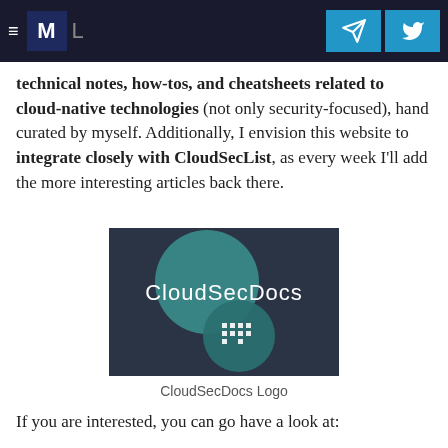Navigation bar with hamburger menu, M logo, L text, and two share buttons (Telegram, Twitter)
technical notes, how-tos, and cheatsheets related to cloud-native technologies (not only security-focused), hand curated by myself. Additionally, I envision this website to integrate closely with CloudSecList, as every week I'll add the more interesting articles back there.
[Figure (logo): CloudSecDocs logo on dark background with teal circular shapes and white 'CloudSecDocs' text]
CloudSecDocs Logo
If you are interested, you can go have a look at: